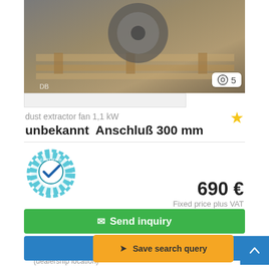[Figure (photo): Dust extractor fan mounted on a wooden pallet, industrial equipment photo]
dust extractor fan 1,1 kW
unbekannt  Anschluß 300 mm
[Figure (logo): Certified Dealer badge with teal gear and checkmark]
690 €
Fixed price plus VAT
✉ Send inquiry
✆ Call
↑ Save search query
Wiefelstede, Germany
(dealership location)